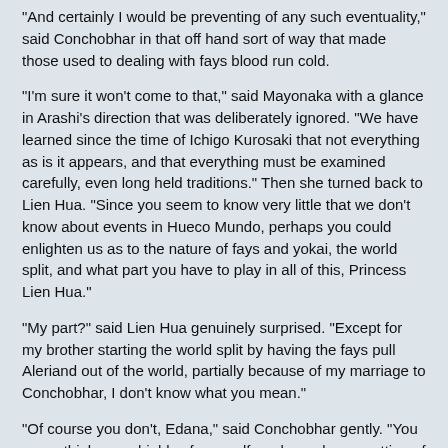"And certainly I would be preventing of any such eventuality," said Conchobhar in that off hand sort of way that made those used to dealing with fays blood run cold.
"I'm sure it won't come to that," said Mayonaka with a glance in Arashi's direction that was deliberately ignored. "We have learned since the time of Ichigo Kurosaki that not everything as is it appears, and that everything must be examined carefully, even long held traditions." Then she turned back to Lien Hua. "Since you seem to know very little that we don't know about events in Hueco Mundo, perhaps you could enlighten us as to the nature of fays and yokai, the world split, and what part you have to play in all of this, Princess Lien Hua."
"My part?" said Lien Hua genuinely surprised. "Except for my brother starting the world split by having the fays pull Aleriand out of the world, partially because of my marriage to Conchobhar, I don't know what you mean."
"Of course you don't, Edana," said Conchobhar gently. "You never think more highly of yourself, and are always putting of others first. Tis one of the things I love about you... but because you did put others first, in the forgoing of heaven to return -helpless as you were- to try to help others... you became the one chosen to bear the Dragonsword. The Dragonsword was forged to join all peoples of the world together, to be fighting against the Evil that destroyed Primavaldia if it should raise it's ungodly head